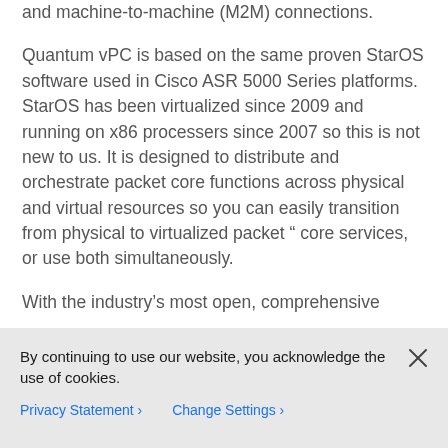and machine-to-machine (M2M) connections.
Quantum vPC is based on the same proven StarOS software used in Cisco ASR 5000 Series platforms. StarOS has been virtualized since 2009 and running on x86 processers since 2007 so this is not new to us. It is designed to distribute and orchestrate packet core functions across physical and virtual resources so you can easily transition from physical to virtualized packet “ core services, or use both simultaneously.
With the industry’s most open, comprehensive
By continuing to use our website, you acknowledge the use of cookies.